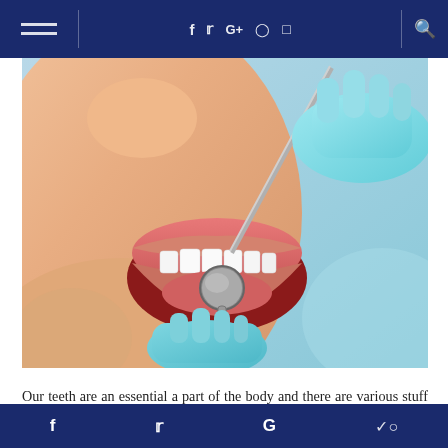≡  f  t  G+   pinterest  instagram  🔍
[Figure (photo): Close-up photo of a dental examination: a patient with mouth open showing white teeth, with a gloved dentist's hand using a dental mirror inside the mouth.]
Our teeth are an essential a part of the body and there are various stuff that will go wrong together. There are plenty of the way that teeth may become chipped or damaged where
f  t  G